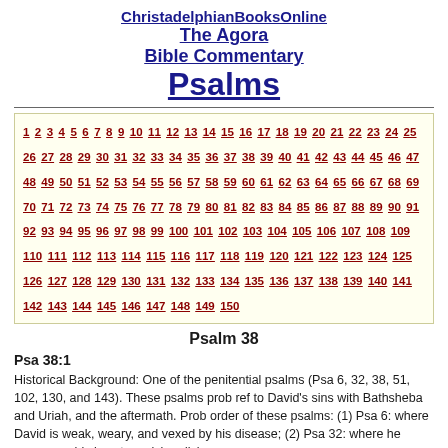ChristadelphianBooksOnline
The Agora
Bible Commentary
Psalms
1 2 3 4 5 6 7 8 9 10 11 12 13 14 15 16 17 18 19 20 21 22 23 24 25 26 27 28 29 30 31 32 33 34 35 36 37 38 39 40 41 42 43 44 45 46 47 48 49 50 51 52 53 54 55 56 57 58 59 60 61 62 63 64 65 66 67 68 69 70 71 72 73 74 75 76 77 78 79 80 81 82 83 84 85 86 87 88 89 90 91 92 93 94 95 96 97 98 99 100 101 102 103 104 105 106 107 108 109 110 111 112 113 114 115 116 117 118 119 120 121 122 123 124 125 126 127 128 129 130 131 132 133 134 135 136 137 138 139 140 141 142 143 144 145 146 147 148 149 150
Psalm 38
Psa 38:1
Historical Background: One of the penitential psalms (Psa 6, 32, 38, 51, 102, 130, and 143). These psalms prob ref to David's sins with Bathsheba and Uriah, and the aftermath. Prob order of these psalms: (1) Psa 6: where David is weak, weary, and vexed by his disease; (2) Psa 32: where he expresses his joy at receiving divine